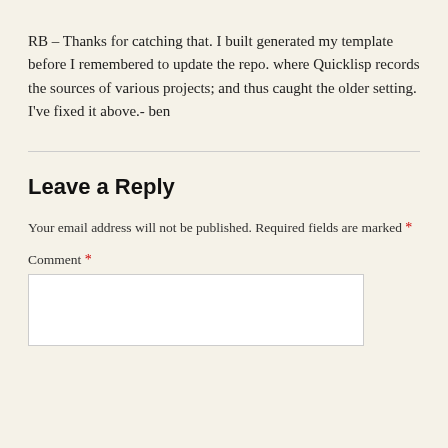RB – Thanks for catching that. I built generated my template before I remembered to update the repo. where Quicklisp records the sources of various projects; and thus caught the older setting. I've fixed it above.- ben
Leave a Reply
Your email address will not be published. Required fields are marked *
Comment *